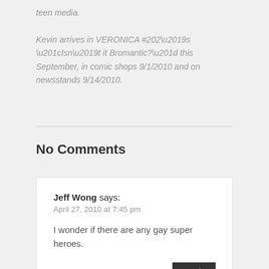teen media. Kevin arrives in VERONICA #202’s “Isn’t it Bromantic?” this September, in comic shops 9/1/2010 and on newsstands 9/14/2010.
No Comments
Jeff Wong says: April 27, 2010 at 7:45 pm
I wonder if there are any gay super heroes.